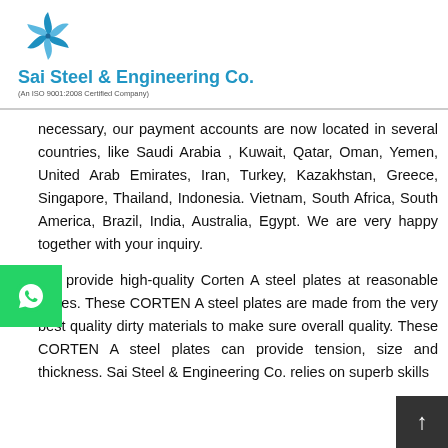Sai Steel & Engineering Co. (An ISO 9001:2008 Certified Company)
necessary, our payment accounts are now located in several countries, like Saudi Arabia , Kuwait, Qatar, Oman, Yemen, United Arab Emirates, Iran, Turkey, Kazakhstan, Greece, Singapore, Thailand, Indonesia. Vietnam, South Africa, South America, Brazil, India, Australia, Egypt. We are very happy together with your inquiry.
We provide high-quality Corten A steel plates at reasonable prices. These CORTEN A steel plates are made from the very best quality dirty materials to make sure overall quality. These CORTEN A steel plates can provide tension, size and thickness. Sai Steel & Engineering Co. relies on superb skills